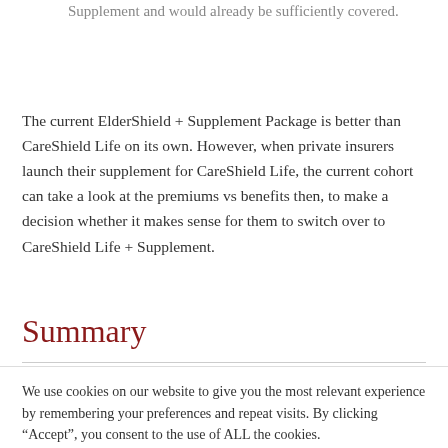whether they have already bought their ElderShield Supplement and would already be sufficiently covered.
The current ElderShield + Supplement Package is better than CareShield Life on its own. However, when private insurers launch their supplement for CareShield Life, the current cohort can take a look at the premiums vs benefits then, to make a decision whether it makes sense for them to switch over to CareShield Life + Supplement.
Summary
We use cookies on our website to give you the most relevant experience by remembering your preferences and repeat visits. By clicking “Accept”, you consent to the use of ALL the cookies.